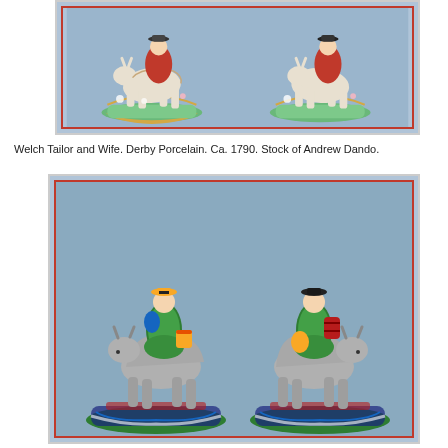[Figure (photo): Pair of Derby porcelain figurines showing Welch Tailor and Wife with goats, ca. 1790, on decorative green and gold rococo bases against blue-grey background.]
Welch Tailor and Wife. Derby Porcelain. Ca. 1790. Stock of Andrew Dando.
[Figure (photo): Pair of porcelain figurines depicting figures in green costumes riding or standing with grey goats, on decorative blue and white scroll bases, against blue-grey background.]